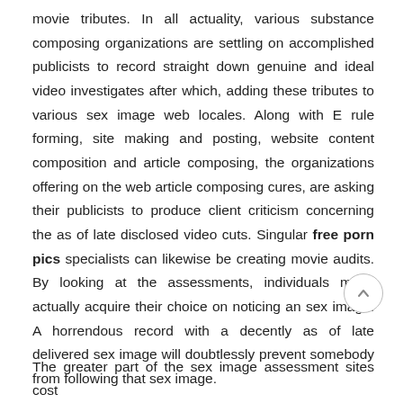movie tributes. In all actuality, various substance composing organizations are settling on accomplished publicists to record straight down genuine and ideal video investigates after which, adding these tributes to various sex image web locales. Along with E rule forming, site making and posting, website content composition and article composing, the organizations offering on the web article composing cures, are asking their publicists to produce client criticism concerning the as of late disclosed video cuts. Singular free porn pics specialists can likewise be creating movie audits. By looking at the assessments, individuals might actually acquire their choice on noticing an sex image. A horrendous record with a decently as of late delivered sex image will doubtlessly prevent somebody from following that sex image.
The greater part of the sex image assessment sites cost